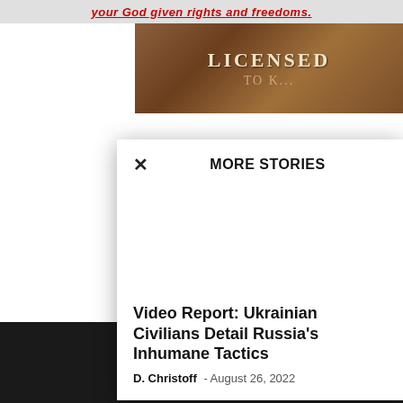your God given rights and freedoms.
[Figure (photo): Book cover with text LICENSED on a brown/wood-grain background]
MORE STORIES
Video Report: Ukrainian Civilians Detail Russia’s Inhumane Tactics
D. Christoff  -  August 26, 2022
[Figure (logo): Yellow diamond shape with heart icon - cryptocurrency/coins logo]
No Registration Required
www.doecoins.com